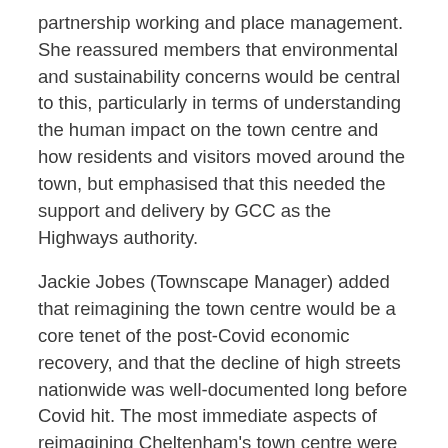partnership working and place management. She reassured members that environmental and sustainability concerns would be central to this, particularly in terms of understanding the human impact on the town centre and how residents and visitors moved around the town, but emphasised that this needed the support and delivery by GCC as the Highways authority.
Jackie Jobes (Townscape Manager) added that reimagining the town centre would be a core tenet of the post-Covid economic recovery, and that the decline of high streets nationwide was well-documented long before Covid hit. The most immediate aspects of reimagining Cheltenham's town centre were to progress the High Street paving works which had been postponed due to the pandemic, and to restart the Cambray Place development in spring 2022. They also needed to address the temporary